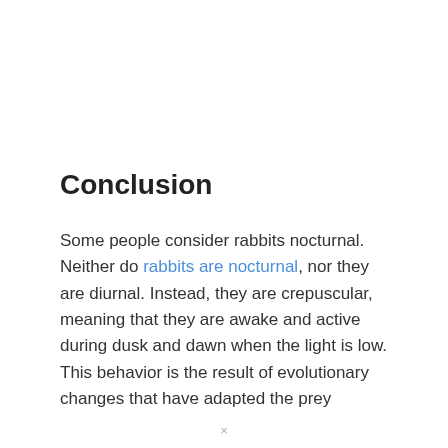Conclusion
Some people consider rabbits nocturnal. Neither do rabbits are nocturnal, nor they are diurnal. Instead, they are crepuscular, meaning that they are awake and active during dusk and dawn when the light is low. This behavior is the result of evolutionary changes that have adapted the prey